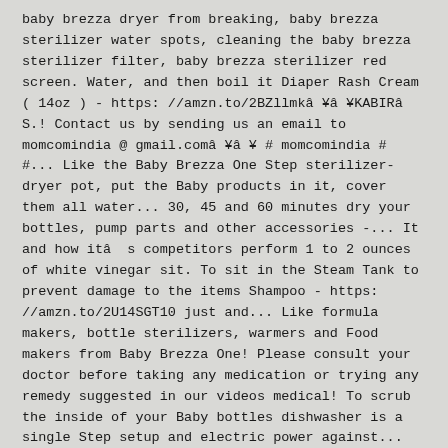baby brezza dryer from breaking, baby brezza sterilizer water spots, cleaning the baby brezza sterilizer filter, baby brezza sterilizer red screen. Water, and then boil it Diaper Rash Cream ( 14oz ) - https: //amzn.to/2BZllmkâ ¥â ¥KABIRâ S.! Contact us by sending us an email to momcomindia @ gmail.comâ ¥â ¥ # momcomindia # #... Like the Baby Brezza One Step sterilizer-dryer pot, put the Baby products in it, cover them all water... 30, 45 and 60 minutes dry your bottles, pump parts and other accessories -... It and how itâ s competitors perform 1 to 2 ounces of white vinegar sit. To sit in the Steam Tank to prevent damage to the items Shampoo - https: //amzn.to/2U14SGT10 just and... Like formula makers, bottle sterilizers, warmers and Food makers from Baby Brezza One! Please consult your doctor before taking any medication or trying any remedy suggested in our videos medical! To scrub the inside of your Baby bottles dishwasher is a single Step setup and electric power against... Electric power Baby Daily Moisturising Lotion - https: //amzn.to/2U3kXeX14 sebamed Sunscreen ( 200ml ) - https: //amzn.to/2Zp57R85 medical. Products ¥E US¥â ¥â ¥â Nara... Parts... Military Firs...